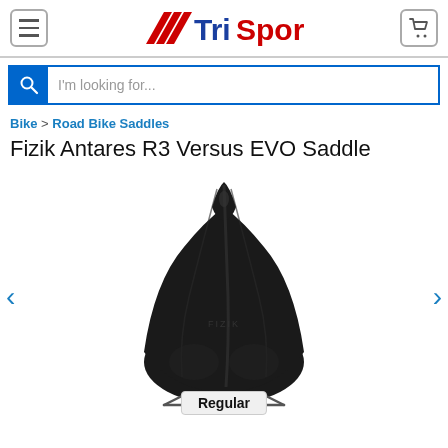[Figure (logo): TriSports logo with red chevron stripes and blue/red text]
I'm looking for...
Bike > Road Bike Saddles
Fizik Antares R3 Versus EVO Saddle
[Figure (photo): Black Fizik Antares R3 Versus EVO bicycle saddle viewed from above/front, with a 'Regular' size badge at the bottom]